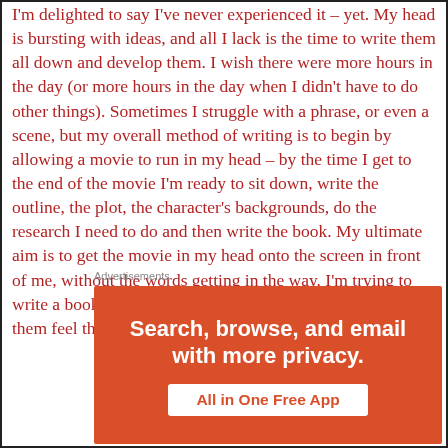I'm delighted to say I've never experienced it – yet. My head is bursting with ideas, and all I lack is the time to write them all down and develop them. I wish there were more hours in the day (or more hours in the day when I didn't have to do other things). Sometimes I struggle with a phrase, or even a scene, but my overall method of writing is to begin by allowing a movie to run in my head – by the time I get to the end of the movie I'm ready to sit down, write the outline, the plot, the character's backgrounds, do the research I need to do and then write the book. My ultimate aim is to get the movie in my head onto the screen in front of me, without the words getting in the way. I'm trying to write a book that readers experience, rather than making them feel they have read something.
Advertisements
[Figure (other): Advertisement banner with orange background reading 'Search, browse, and email with more privacy. All in One Free App']